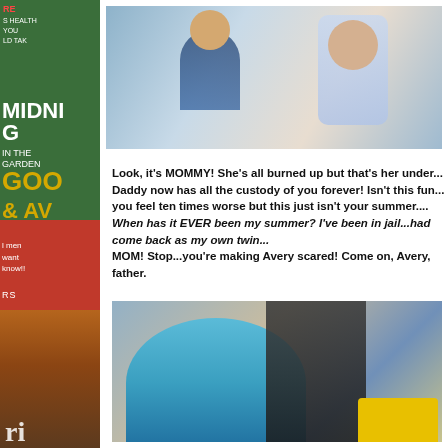[Figure (photo): Top photo showing people near a doorway, including a child and adults]
Look, it's MOMMY! She's all burned up but that's her under... Daddy now has all the custody of you forever! Isn't this fun... you feel ten times worse but this just isn't your summer.... When has it EVER been my summer? I've been in jail...had come back as my own twin... MOM! Stop...you're making Avery scared! Come on, Avery, father.
[Figure (photo): Bottom photo showing a woman in a teal top crying or emotional, with a man behind her and a yellow object in foreground, sign with number 10 visible in background]